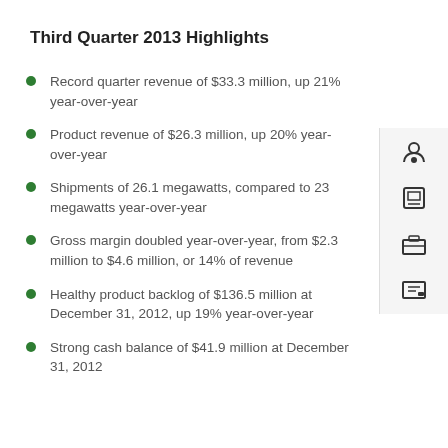Third Quarter 2013 Highlights
Record quarter revenue of $33.3 million, up 21% year-over-year
Product revenue of $26.3 million, up 20% year-over-year
Shipments of 26.1 megawatts, compared to 23 megawatts year-over-year
Gross margin doubled year-over-year, from $2.3 million to $4.6 million, or 14% of revenue
Healthy product backlog of $136.5 million at December 31, 2012, up 19% year-over-year
Strong cash balance of $41.9 million at December 31, 2012